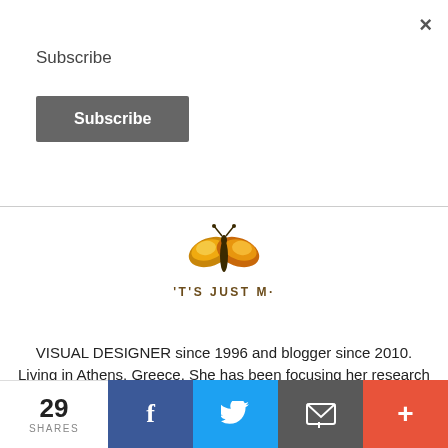×
Subscribe
Subscribe
[Figure (logo): Golden butterfly logo with text IT'S JUST ME below]
VISUAL DESIGNER since 1996 and blogger since 2010. Living in Athens, Greece. She has been focusing her research on poster design and particularly on social poster design and portrait
Privacy & Cookies: This site uses cookies. By continuing to use this website, you agree to their use.
To find out more, including how to control cookies, see here: Cookie Policy
29 SHARES